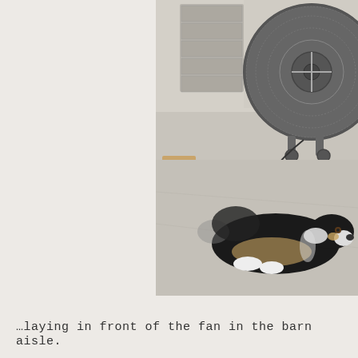[Figure (photo): A black, white, and tan dog (Australian Shepherd or Border Collie mix) laying down on a concrete floor in front of a large industrial barn fan on wheels. A wooden stool or small table is visible in the background along with a garage door.]
…laying in front of the fan in the barn aisle.